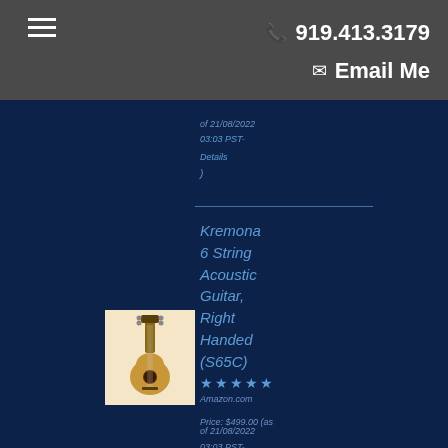919.413.3179 | Email Me
of 21/08/2022 03:03 PST- Details )
Kremona 6 String Acoustic Guitar, Right Handed (S65C)
[Figure (photo): Acoustic classical guitar, natural wood finish, viewed from front]
Amazon.com Price: $499.00 (as of 21/08/2022 03:03 PST- Details